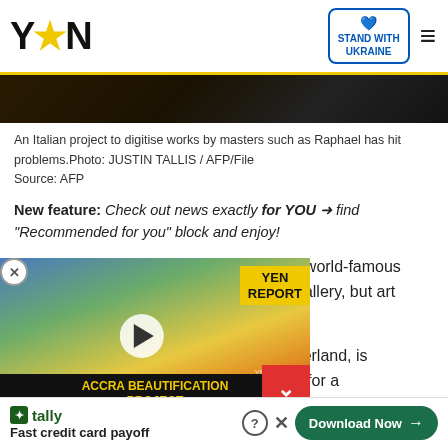YEN ★ | STAND WITH UKRAINE
[Figure (photo): Dark banner image strip at the top of the article]
An Italian project to digitise works by masters such as Raphael has hit problems.Photo: JUSTIN TALLIS / AFP/File
Source: AFP
New feature: Check out news exactly for YOU ➜ find "Recommended for you" block and enjoy!
The closest most people get to owning a world-famous artwork is to buy a cheap poster from a gallery, but art ... rness technology to draw in new
... anker based in Switzerland, is ... ownership schemes -- for a ... tal chunk of a painting and
[Figure (screenshot): YEN Report video overlay showing Accra Beautification Project mural with play button]
Tally — Fast credit card payoff | Download Now →